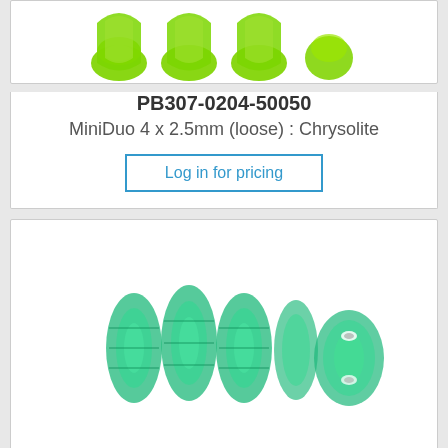[Figure (photo): Green chrysolite MiniDuo beads shown from above, loose, small peanut/bicone shaped, bright green color]
PB307-0204-50050
MiniDuo 4 x 2.5mm (loose) : Chrysolite
Log in for pricing
[Figure (photo): Green emerald MiniDuo beads shown side and front view, elongated bicone shaped transparent green glass beads]
PB307-0204-50720
MiniDuo 4 x 2.5mm (loose) : Emerald
Log in for pricing